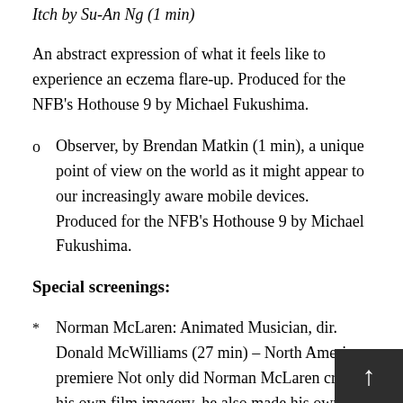Itch by Su-An Ng (1 min)
An abstract expression of what it feels like to experience an eczema flare-up. Produced for the NFB's Hothouse 9 by Michael Fukushima.
o  Observer, by Brendan Matkin (1 min), a unique point of view on the world as it might appear to our increasingly aware mobile devices. Produced for the NFB's Hothouse 9 by Michael Fukushima.
Special screenings:
*  Norman McLaren: Animated Musician, dir. Donald McWilliams (27 min) – North American premiere Not only did Norman McLaren create his own film imagery, he also made his own music by drawing, etching and photographing patterns directly onto the sound track area of the film, becoming a pioneer of